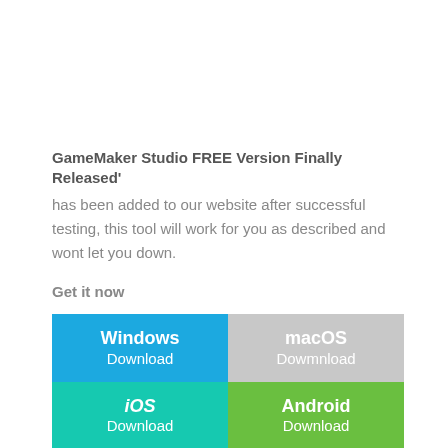GameMaker Studio FREE Version Finally Released'
has been added to our website after successful testing, this tool will work for you as described and wont let you down.
Get it now
[Figure (infographic): Four download buttons in a 2x2 grid: Windows Download (blue), macOS Dowmnload (gray), iOS Download (teal/green), Android Download (green)]
[ Direct download link (Windows) ]